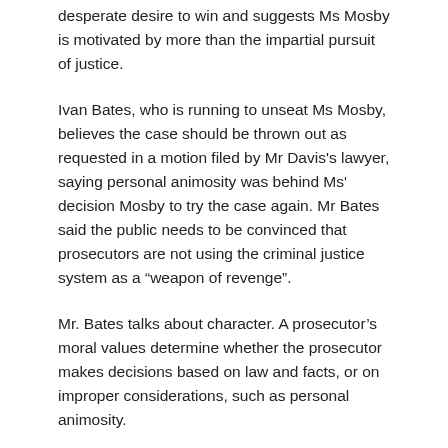desperate desire to win and suggests Ms Mosby is motivated by more than the impartial pursuit of justice.
Ivan Bates, who is running to unseat Ms Mosby, believes the case should be thrown out as requested in a motion filed by Mr Davis’s lawyer, saying personal animosity was behind Ms’ decision Mosby to try the case again. Mr Bates said the public needs to be convinced that prosecutors are not using the criminal justice system as a “weapon of revenge”.
Mr. Bates talks about character. A prosecutor’s moral values determine whether the prosecutor makes decisions based on law and facts, or on improper considerations, such as personal animosity.
There were also concerns about her motives in 2015 when, after a hasty and inadequate investigation, she announced criminal charges against six Baltimore police officers following the death of Freddie Gray in police custody. None have been convicted.